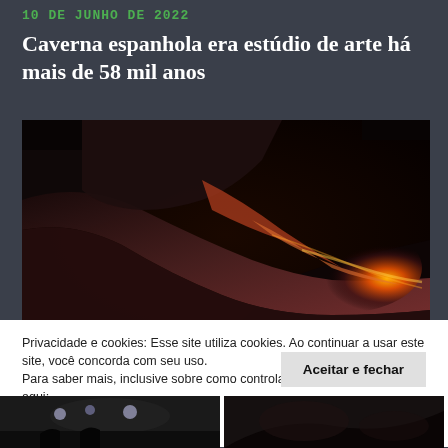10 DE JUNHO DE 2022
Caverna espanhola era estúdio de arte há mais de 58 mil anos
[Figure (photo): Cave interior photograph showing dramatic rock formations with warm orange and golden light illuminating the curved sandstone walls, dark cave background.]
Privacidade e cookies: Esse site utiliza cookies. Ao continuar a usar este site, você concorda com seu uso.
Para saber mais, inclusive sobre como controlar os cookies, consulte aqui:
Política de cookies
Aceitar e fechar
[Figure (photo): Two small cave photographs at the bottom of the page, partially obscured by the cookie banner.]